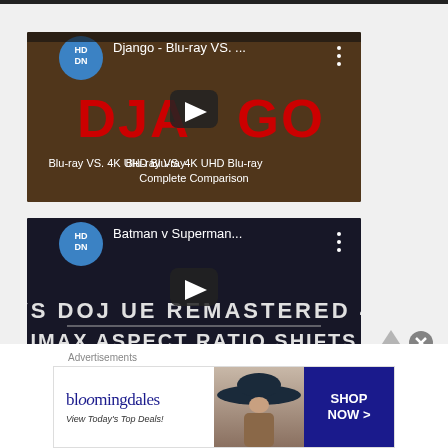[Figure (screenshot): YouTube video thumbnail for 'Django - Blu-ray VS. ...' showing DJANGO title text in red with a play button overlay, and text 'Blu-ray VS. 4K UHD Blu-ray Complete Comparison']
[Figure (screenshot): YouTube video thumbnail for 'Batman v Superman...' showing 'BVS DOJ UE REMASTERED 4K' and 'IMAX ASPECT RATIO SHIFTS' text with a play button overlay]
Advertisements
[Figure (screenshot): Bloomingdale's advertisement banner with logo, 'View Today's Top Deals!' tagline, woman in hat, and 'SHOP NOW >' button]